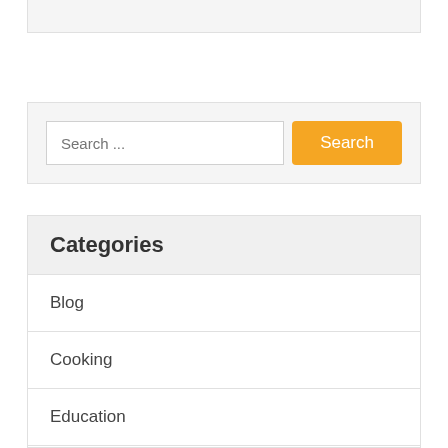[Figure (screenshot): Top portion of a widget box with light gray background, partially visible at top of page]
[Figure (screenshot): Search widget with text input field showing placeholder 'Search ...' and an orange 'Search' button]
Categories
Blog
Cooking
Education
Fashion